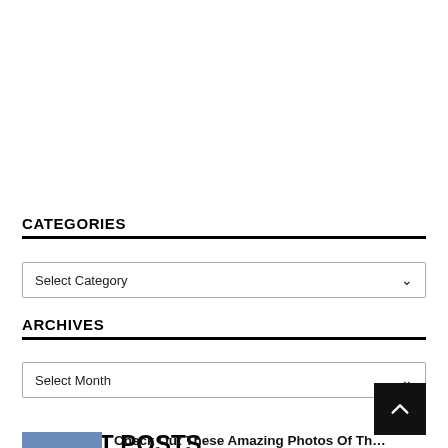CATEGORIES
Select Category
ARCHIVES
Select Month
LATEST POSTS
[Figure (other): Thumbnail image placeholder (blue-grey rectangle)]
Check Out These Amazing Photos Of Th…